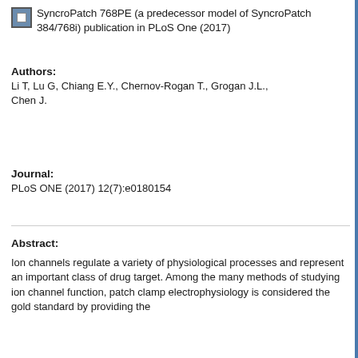SyncroPatch 768PE (a predecessor model of SyncroPatch 384/768i) publication in PLoS One (2017)
Authors:
Li T, Lu G, Chiang E.Y., Chernov-Rogan T., Grogan J.L., Chen J.
Journal:
PLoS ONE (2017) 12(7):e0180154
Abstract:
Ion channels regulate a variety of physiological processes and represent an important class of drug target. Among the many methods of studying ion channel function, patch clamp electrophysiology is considered the gold standard by providing the